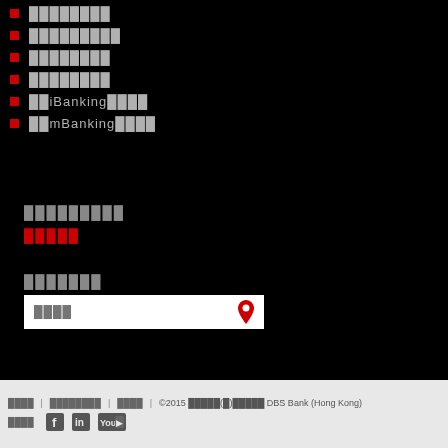████████
█████████
████████
████████
██iBanking████
██mBanking████
█████████
█████
███████
████
████ | ████████ | ████ | ©2015 █████(█)█████ DBS Bank (Hong Kong)
████